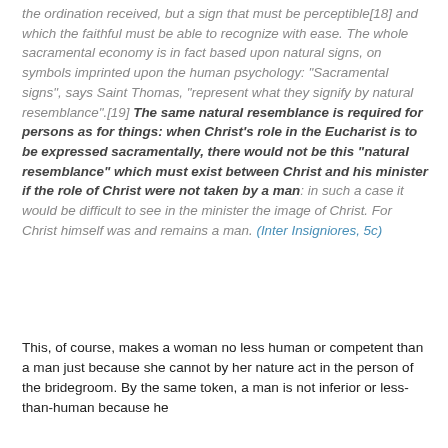the ordination received, but a sign that must be perceptible[18] and which the faithful must be able to recognize with ease. The whole sacramental economy is in fact based upon natural signs, on symbols imprinted upon the human psychology: "Sacramental signs", says Saint Thomas, "represent what they signify by natural resemblance".[19] The same natural resemblance is required for persons as for things: when Christ's role in the Eucharist is to be expressed sacramentally, there would not be this "natural resemblance" which must exist between Christ and his minister if the role of Christ were not taken by a man: in such a case it would be difficult to see in the minister the image of Christ. For Christ himself was and remains a man. (Inter Insigniores, 5c)
This, of course, makes a woman no less human or competent than a man just because she cannot by her nature act in the person of the bridegroom. By the same token, a man is not inferior or less-than-human because he